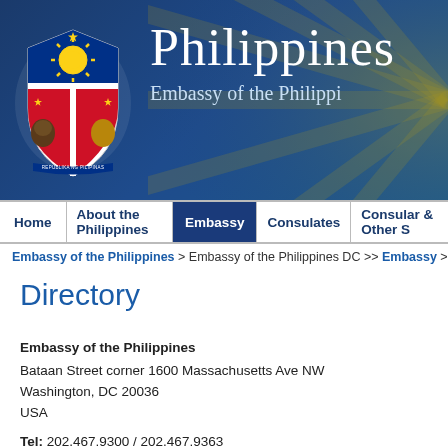[Figure (logo): Philippine government seal / coat of arms on blue banner with 'Philippines' and 'Embassy of the Philippines' text]
Home | About the Philippines | Embassy | Consulates | Consular & Other S
Embassy of the Philippines > Embassy of the Philippines DC >> Embassy >> Directo
Directory
Embassy of the Philippines
Bataan Street corner 1600 Massachusetts Ave NW
Washington, DC 20036
USA

Tel: 202.467.9300 / 202.467.9363
Fax: 202.328.7614

Emergency hotline : +1-202-368-2767
VAW (Violence Against Women) desk and Assistance to Nationals (ATN) hotline : +1-202-769-8049